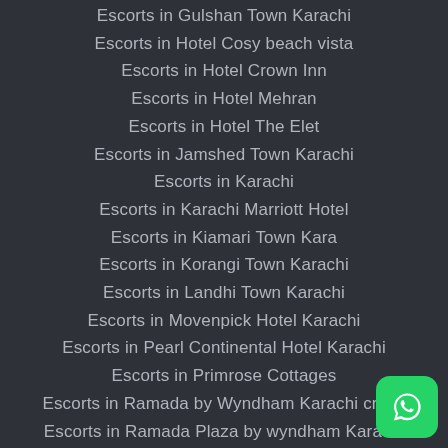Escorts in Gulshan Town Karachi
Escorts in Hotel Cosy beach vista
Escorts in Hotel Crown Inn
Escorts in Hotel Mehran
Escorts in Hotel The Elet
Escorts in Jamshed Town Karachi
Escorts in Karachi
Escorts in Karachi Marriott Hotel
Escorts in Kiamari Town Kara
Escorts in Korangi Town Karachi
Escorts in Landhi Town Karachi
Escorts in Movenpick Hotel Karachi
Escorts in Pearl Continental Hotel Karachi
Escorts in Primrose Cottages
Escorts in Ramada by Wyndham Karachi creek
Escorts in Ramada Plaza by wyndham Karachi Airport Hotel